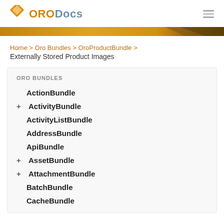[Figure (logo): OroDocs logo with orange diamond icon and ORO in orange, Docs in blue-gray]
[Figure (illustration): Gold/amber gradient decorative banner strip]
Home > Oro Bundles > OroProductBundle > Externally Stored Product Images
ORO BUNDLES
ActionBundle
+ ActivityBundle
ActivityListBundle
AddressBundle
ApiBundle
+ AssetBundle
+ AttachmentBundle
BatchBundle
CacheBundle